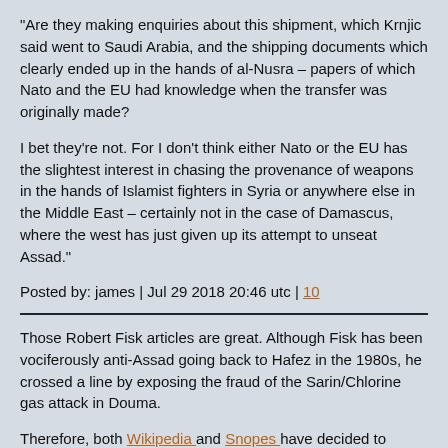"Are they making enquiries about this shipment, which Krnjic said went to Saudi Arabia, and the shipping documents which clearly ended up in the hands of al-Nusra – papers of which Nato and the EU had knowledge when the transfer was originally made?
I bet they're not. For I don't think either Nato or the EU has the slightest interest in chasing the provenance of weapons in the hands of Islamist fighters in Syria or anywhere else in the Middle East – certainly not in the case of Damascus, where the west has just given up its attempt to unseat Assad."
Posted by: james | Jul 29 2018 20:46 utc | 10
Those Robert Fisk articles are great. Although Fisk has been vociferously anti-Assad going back to Hafez in the 1980s, he crossed a line by exposing the fraud of the Sarin/Chlorine gas attack in Douma.
Therefore, both Wikipedia and Snopes have decided to shelter us from his reporting on and from Douma.
Elliot Higgins and Belingcat are not just "reliable," but along with Snopes, have been appointed as guardians of "truth" by the US Ministry of Truth, but Robert Fisk, who Fisk holds more British and international journalism awards than any